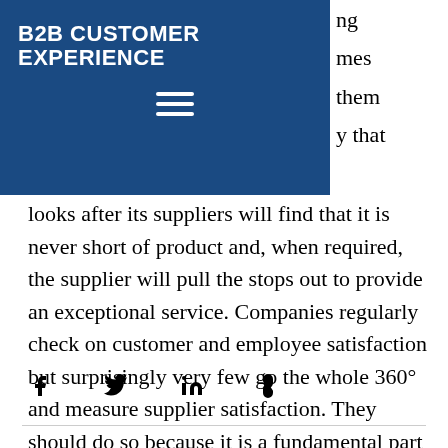B2B CUSTOMER EXPERIENCE
looks after its suppliers will find that it is never short of product and, when required, the supplier will pull the stops out to provide an exceptional service. Companies regularly check on customer and employee satisfaction but surprisingly very few go the whole 360° and measure supplier satisfaction. They should do so because it is a fundamental part of the culture that says “we take care of all our stakeholders”.